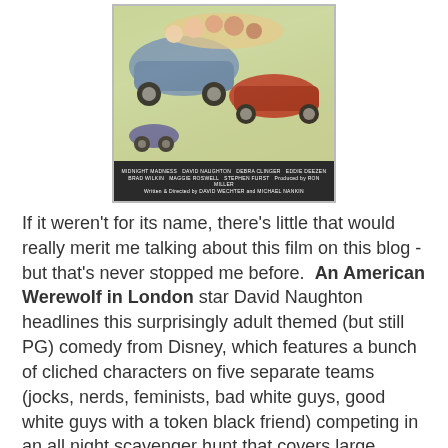[Figure (photo): Movie poster for 'Midnight Madness' featuring colorful cartoon-style illustration of cars and characters, with cast and crew credits at the bottom on a dark background.]
If it weren't for its name, there's little that would really merit me talking about this film on this blog - but that's never stopped me before.  An American Werewolf in London star David Naughton headlines this surprisingly adult themed (but still PG) comedy from Disney, which features a bunch of cliched characters on five separate teams (jocks, nerds, feminists, bad white guys, good white guys with a token black friend) competing in an all night scavenger hunt that covers large sections of Los Angeles in the name of fun.  It's an incredibly simple film, but I had a ton of fun with it.
[Figure (photo): Dark still from the film showing an interior scene with windows visible in the background.]